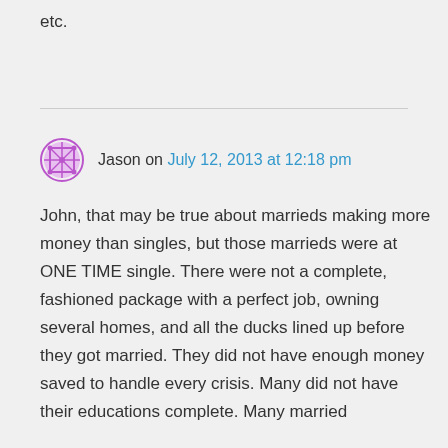etc.
Jason on July 12, 2013 at 12:18 pm

John, that may be true about marrieds making more money than singles, but those marrieds were at ONE TIME single. There were not a complete, fashioned package with a perfect job, owning several homes, and all the ducks lined up before they got married. They did not have enough money saved to handle every crisis. Many did not have their educations complete. Many married